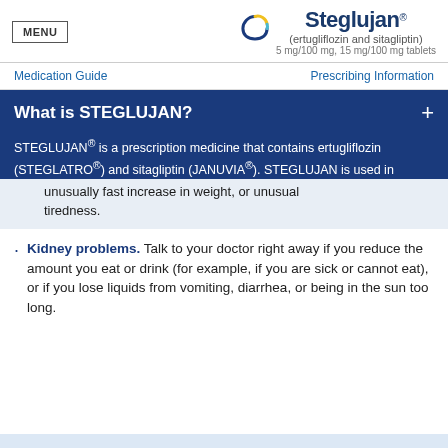MENU | Steglujan® (ertugliflozin and sitagliptin) 5 mg/100 mg, 15 mg/100 mg tablets
Medication Guide | Prescribing Information
What is STEGLUJAN?
STEGLUJAN® is a prescription medicine that contains ertugliflozin (STEGLATRO®) and sitagliptin (JANUVIA®). STEGLUJAN is used in
unusually fast increase in weight, or unusual tiredness.
Kidney problems. Talk to your doctor right away if you reduce the amount you eat or drink (for example, if you are sick or cannot eat), or if you lose liquids from vomiting, diarrhea, or being in the sun too long.